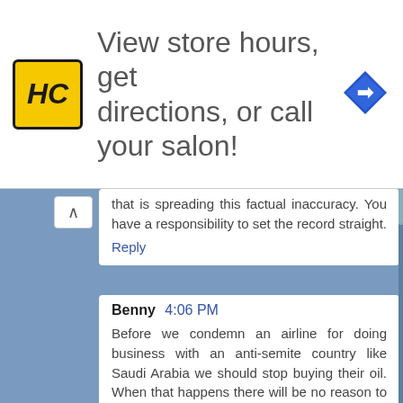[Figure (screenshot): Advertisement banner for HC (Hair Club or similar salon) — yellow/black logo on left, text 'View store hours, get directions, or call your salon!' in the center, blue diamond navigation icon on right]
that is spreading this factual inaccuracy. You have a responsibility to set the record straight.
Reply
Benny  4:06 PM
Before we condemn an airline for doing business with an anti-semite country like Saudi Arabia we should stop buying their oil. When that happens there will be no reason to fly there anyway.
Reply
Rabbi Jason Miller      5:51 PM
Here's the official press release from the Saudi...